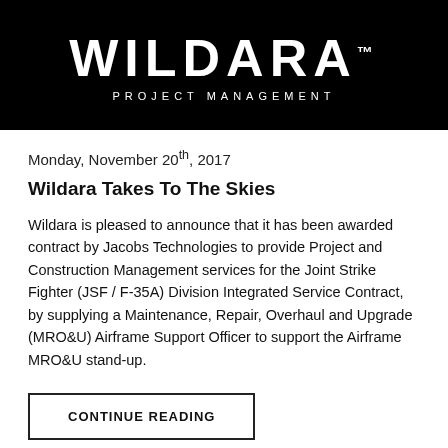[Figure (logo): Wildara Project Management logo — white text on black background. Large bold 'WILDARA' with trademark symbol, and 'PROJECT MANAGEMENT' in spaced uppercase below.]
Monday, November 20th, 2017
Wildara Takes To The Skies
Wildara is pleased to announce that it has been awarded contract by Jacobs Technologies to provide Project and Construction Management services for the Joint Strike Fighter (JSF / F-35A) Division Integrated Service Contract, by supplying a Maintenance, Repair, Overhaul and Upgrade (MRO&U) Airframe Support Officer to support the Airframe MRO&U stand-up.
CONTINUE READING